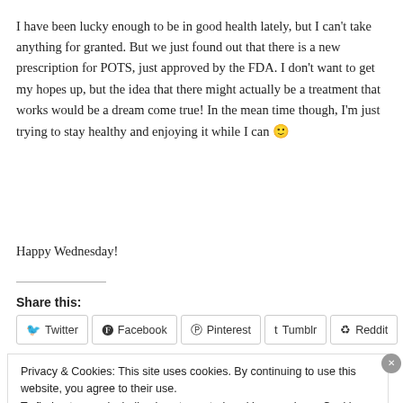I have been lucky enough to be in good health lately, but I can't take anything for granted. But we just found out that there is a new prescription for POTS, just approved by the FDA. I don't want to get my hopes up, but the idea that there might actually be a treatment that works would be a dream come true! In the mean time though, I'm just trying to stay healthy and enjoying it while I can 🙂
Happy Wednesday!
Share this:
Twitter | Facebook | Pinterest | Tumblr | Reddit
Privacy & Cookies: This site uses cookies. By continuing to use this website, you agree to their use.
To find out more, including how to control cookies, see here: Cookie Policy
Close and accept